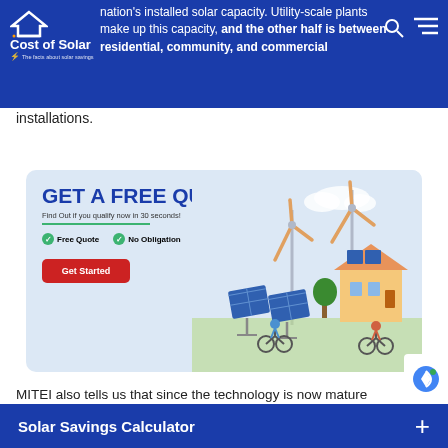Cost of Solar — nation's installed solar capacity. Utility-scale plants make up this capacity, and the other half is between residential, community, and commercial installations.
installations.
[Figure (infographic): Advertisement banner: GET A FREE QUOTE — Find Out if you qualify now in 30 seconds! Free Quote. No Obligation. Get Started button. Illustration of solar panels, wind turbines, house with solar panels, and cyclists.]
MITEI also tells us that since the technology is now mature and the large-scale manufacturing capacity is in place, c-Si solar PV will likely remain the leading form of solar energy for the next few decades.
Solar Savings Calculator +